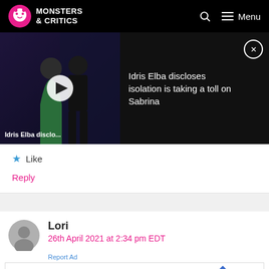Monsters & Critics — navigation bar with logo, search, and menu
[Figure (screenshot): Video notification: thumbnail of Idris Elba and Sabrina with play button overlay, title 'Idris Elba disclo...' with close button and text 'Idris Elba discloses isolation is taking a toll on Sabrina']
★ Like
Reply
Lori
26th April 2021 at 2:34 pm EDT
Report Ad
Save Up to 65% Leesburg Premium Outlets